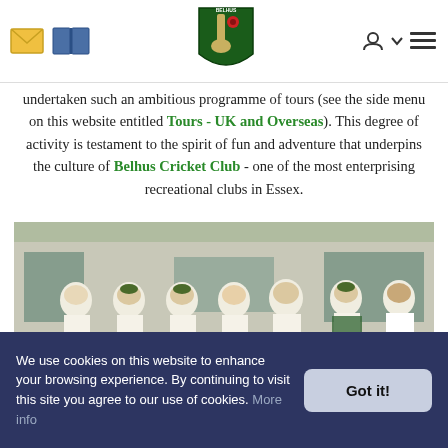[Navigation bar with mail icon, book icon, Belhus Cricket Club logo, user icon, and menu icon]
undertaken such an ambitious programme of tours (see the side menu on this website entitled Tours - UK and Overseas). This degree of activity is testament to the spirit of fun and adventure that underpins the culture of Belhus Cricket Club - one of the most enterprising recreational clubs in Essex.
[Figure (photo): Group photo of Belhus Cricket Club team members in white cricket uniforms with green caps, standing and kneeling in two rows in front of a building. One person on the right wears a white coat (umpire).]
We use cookies on this website to enhance your browsing experience. By continuing to visit this site you agree to our use of cookies. More info